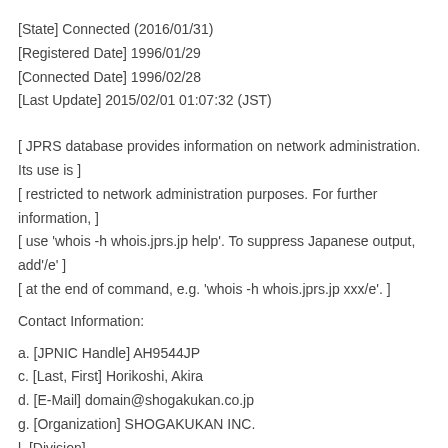[State] Connected (2016/01/31)
[Registered Date] 1996/01/29
[Connected Date] 1996/02/28
[Last Update] 2015/02/01 01:07:32 (JST)
[ JPRS database provides information on network administration. Its use is ]
[ restricted to network administration purposes. For further information, ]
[ use 'whois -h whois.jprs.jp help'. To suppress Japanese output, add'/e' ]
[ at the end of command, e.g. 'whois -h whois.jprs.jp xxx/e'. ]
Contact Information:
a. [JPNIC Handle] AH9544JP
c. [Last, First] Horikoshi, Akira
d. [E-Mail] domain@shogakukan.co.jp
g. [Organization] SHOGAKUKAN INC.
l. [Division]
n. [Title]
o. [TEL]